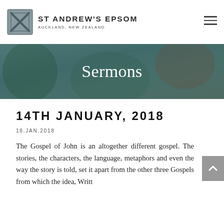[Figure (logo): St Andrew's Epsom church logo — square emblem with X cross pattern, site name and Auckland, New Zealand subtitle]
St Andrew's Epsom Auckland, New Zealand
Sermons
14TH JANUARY, 2018
18.JAN.2018
The Gospel of John is an altogether different gospel. The stories, the characters, the language, metaphors and even the way the story is told, set it apart from the other three Gospels from which the idea, Writt...